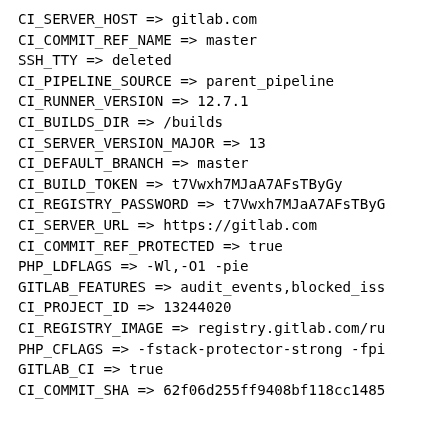CI_SERVER_HOST => gitlab.com
CI_COMMIT_REF_NAME => master
SSH_TTY => deleted
CI_PIPELINE_SOURCE => parent_pipeline
CI_RUNNER_VERSION => 12.7.1
CI_BUILDS_DIR => /builds
CI_SERVER_VERSION_MAJOR => 13
CI_DEFAULT_BRANCH => master
CI_BUILD_TOKEN => t7Vwxh7MJaA7AFsTByGy
CI_REGISTRY_PASSWORD => t7Vwxh7MJaA7AFsTByG
CI_SERVER_URL => https://gitlab.com
CI_COMMIT_REF_PROTECTED => true
PHP_LDFLAGS => -Wl,-O1 -pie
GITLAB_FEATURES => audit_events,blocked_iss
CI_PROJECT_ID => 13244020
CI_REGISTRY_IMAGE => registry.gitlab.com/ru
PHP_CFLAGS => -fstack-protector-strong -fpi
GITLAB_CI => true
CI_COMMIT_SHA => 62f06d255ff9408bf118cc1485